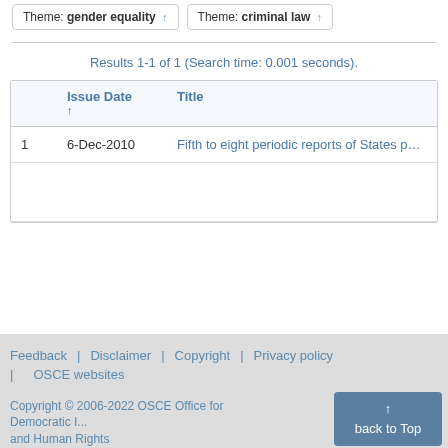Material Type: country report ↑
Theme: gender equality ↑
Theme: criminal law ↑
Results 1-1 of 1 (Search time: 0.001 seconds).
|  | Issue Date ↑ | Title |
| --- | --- | --- |
| 1 | 6-Dec-2010 | Fifth to eight periodic reports of States parties d... |
Feedback | Disclaimer | Copyright | Privacy policy | OSCE websites
Copyright © 2006-2022 OSCE Office for Democratic I... and Human Rights
back to Top